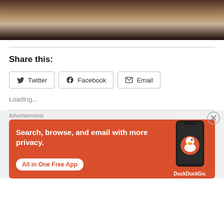[Figure (photo): Partial photo of a person in light colored clothing on a dark background, cropped at top of page]
Share this:
Twitter  Facebook  Email
Loading...
Advertisements
[Figure (infographic): DuckDuckGo advertisement banner with orange background. Text reads: Search, browse, and email with more privacy. All in One Free App. Shows a phone with DuckDuckGo logo.]